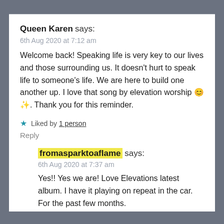Queen Karen says:
6th Aug 2020 at 7:12 am
Welcome back! Speaking life is very key to our lives and those surrounding us. It doesn't hurt to speak life to someone's life. We are here to build one another up. I love that song by elevation worship 😊✨. Thank you for this reminder.
★ Liked by 1 person
Reply
fromasparktoaflame says:
6th Aug 2020 at 7:37 am
Yes!! Yes we are! Love Elevations latest album. I have it playing on repeat in the car. For the past few months.